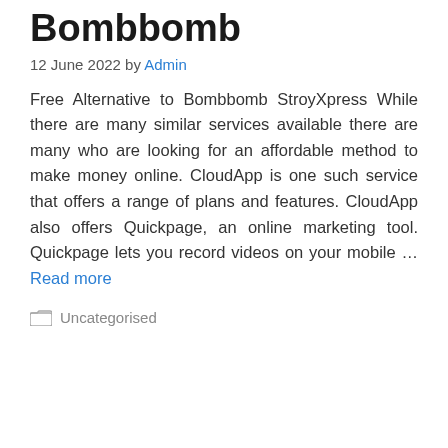Bombbomb
12 June 2022 by Admin
Free Alternative to Bombbomb StroyXpress While there are many similar services available there are many who are looking for an affordable method to make money online. CloudApp is one such service that offers a range of plans and features. CloudApp also offers Quickpage, an online marketing tool. Quickpage lets you record videos on your mobile … Read more
Uncategorised